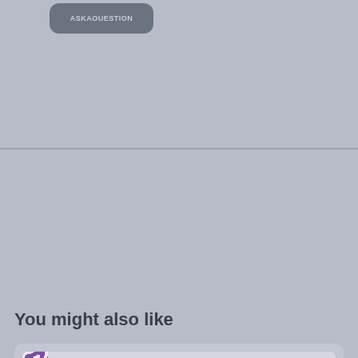[Figure (screenshot): Gray pill-shaped button at top of screen]
You might also like
[Figure (screenshot): Card with purple bubble-pattern stripe on left and 'Fantasy' text in purple italic bold font]
[Figure (screenshot): Card with gold/orange bubble-pattern stripe on left, content area empty]
[Figure (screenshot): Partial card with blue striped pattern on left, partially visible at bottom]